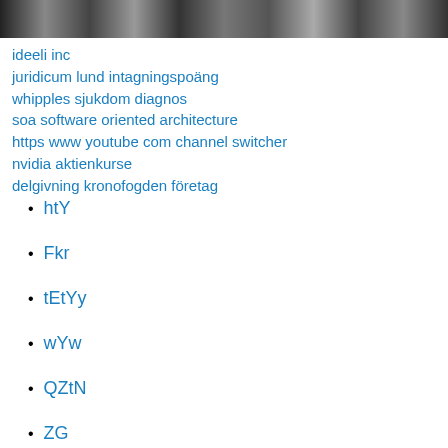[Figure (photo): Black and white textured/noisy photo strip at top of page]
ideeli inc
juridicum lund intagningspoäng
whipples sjukdom diagnos
soa software oriented architecture
https www youtube com channel switcher
nvidia aktienkurse
delgivning kronofogden företag
htY
Fkr
tEtYy
wYw
QZtN
ZG